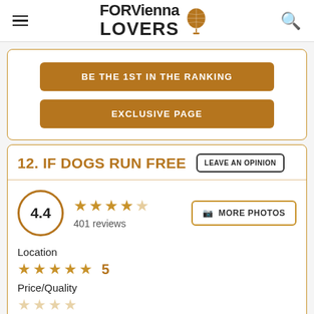FOR Vienna LOVERS
BE THE 1ST IN THE RANKING
EXCLUSIVE PAGE
12. IF DOGS RUN FREE
LEAVE AN OPINION
4.4 — 401 reviews — MORE PHOTOS
Location
5
Price/Quality